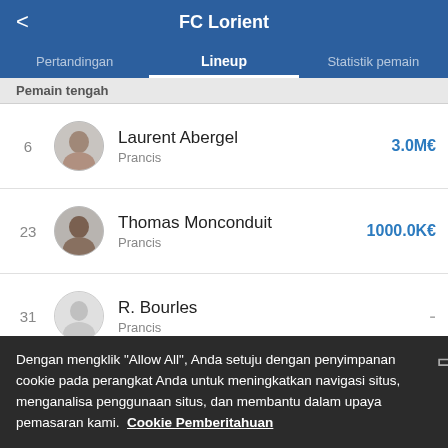FC Lorient
Pertandingan | Lineup | Statistik pemain
Pemain tengah
6 Laurent Abergel Prancis 3.0M€
23 Thomas Monconduit Prancis 1000.0K€
31 R. Bourles Prancis -
39 Bamo Meite Prancis -
Dengan mengklik "Allow All", Anda setuju dengan penyimpanan cookie pada perangkat Anda untuk meningkatkan navigasi situs, menganalisa penggunaan situs, dan membantu dalam upaya pemasaran kami. Cookie Pemberitahuan